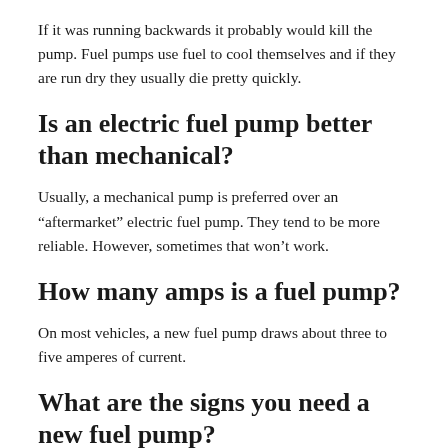If it was running backwards it probably would kill the pump. Fuel pumps use fuel to cool themselves and if they are run dry they usually die pretty quickly.
Is an electric fuel pump better than mechanical?
Usually, a mechanical pump is preferred over an “afftermarket” electric fuel pump. They tend to be more reliable. However, sometimes that won’t work.
How many amps is a fuel pump?
On most vehicles, a new fuel pump draws about three to five amperes of current.
What are the signs you need a new fuel pump?